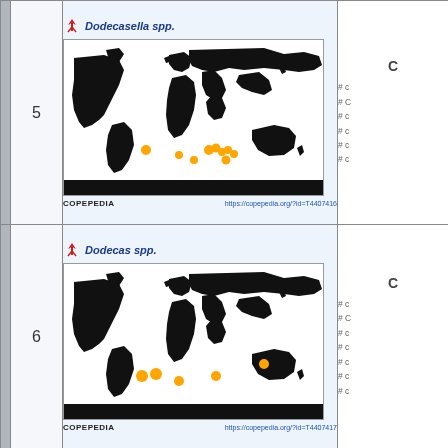[Figure (map): World map showing distribution of Dodecasella spp. with orange dots concentrated in southern Atlantic and around Australia, from COPEPEDIA. URL: https://copepedia.org/?id=T4407416]
Dodecasella spp. — COPEPEDIA https://copepedia.org/?id=T4407416
[Figure (map): World map showing distribution of Dodecas spp. with orange dots near Australia and southern Atlantic, from COPEPEDIA. URL: https://copepedia.org/?id=T4407417]
Dodecas spp. — COPEPEDIA https://copepedia.org/?id=T4407417